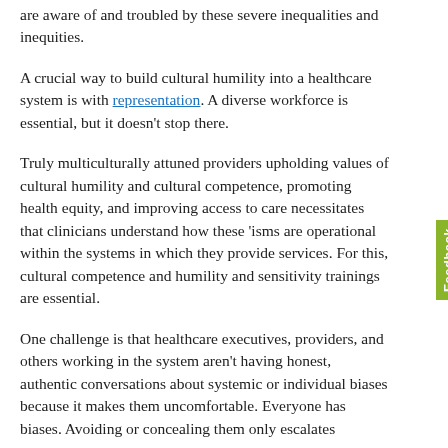are aware of and troubled by these severe inequalities and inequities.
A crucial way to build cultural humility into a healthcare system is with representation. A diverse workforce is essential, but it doesn't stop there.
Truly multiculturally attuned providers upholding values of cultural humility and cultural competence, promoting health equity, and improving access to care necessitates that clinicians understand how these 'isms are operational within the systems in which they provide services. For this, cultural competence and humility and sensitivity trainings are essential.
One challenge is that healthcare executives, providers, and others working in the system aren't having honest, authentic conversations about systemic or individual biases because it makes them uncomfortable. Everyone has biases. Avoiding or concealing them only escalates